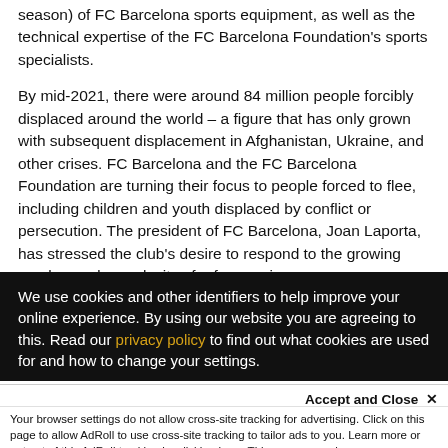season) of FC Barcelona sports equipment, as well as the technical expertise of the FC Barcelona Foundation's sports specialists.
By mid-2021, there were around 84 million people forcibly displaced around the world – a figure that has only grown with subsequent displacement in Afghanistan, Ukraine, and other crises. FC Barcelona and the FC Barcelona Foundation are turning their focus to people forced to flee, including children and youth displaced by conflict or persecution. The president of FC Barcelona, Joan Laporta, has stressed the club's desire to respond to the growing number and complexity of refugee crises.
We use cookies and other identifiers to help improve your online experience. By using our website you are agreeing to this. Read our privacy policy to find out what cookies are used for and how to change your settings.
Accept and Close ✕
Your browser settings do not allow cross-site tracking for advertising. Click on this page to allow AdRoll to use cross-site tracking to tailor ads to you. Learn more or opt out of this AdRoll tracking by clicking here. This message only appears once.